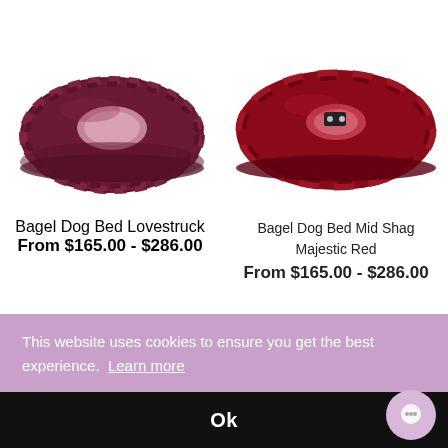[Figure (photo): Purple/burgundy bagel-shaped dog bed (Lovestruck) on the left, and a deep red Mid Shag Majestic Red bagel dog bed on the right]
Bagel Dog Bed Lovestruck
From $165.00 - $286.00
Bagel Dog Bed Mid Shag Majestic Red
From $165.00 - $286.00
This website uses cookies to ensure you get the best experience.  Learn more
Ok